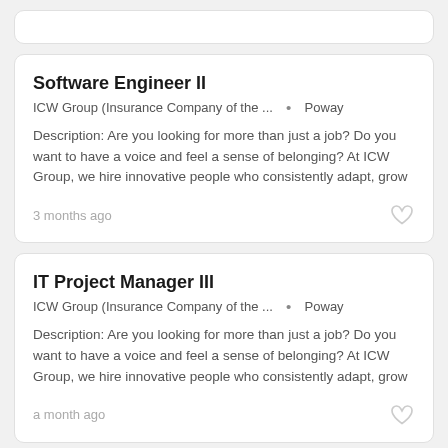Software Engineer II
ICW Group (Insurance Company of the ...  •  Poway
Description: Are you looking for more than just a job? Do you want to have a voice and feel a sense of belonging? At ICW Group, we hire innovative people who consistently adapt, grow
3 months ago
IT Project Manager III
ICW Group (Insurance Company of the ...  •  Poway
Description: Are you looking for more than just a job? Do you want to have a voice and feel a sense of belonging? At ICW Group, we hire innovative people who consistently adapt, grow
a month ago
Software Engineer III
Kforce Technology  •  Poway